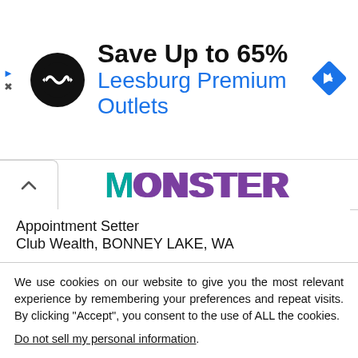[Figure (screenshot): Advertisement banner: circular black logo with infinity-like symbol, text 'Save Up to 65%' in bold black and 'Leesburg Premium Outlets' in blue, blue diamond navigation icon on right]
[Figure (logo): Monster.com logo in purple/teal lettering on white background with navigation caret button]
Appointment Setter
Club Wealth, BONNEY LAKE, WA
Small Equipment and Engine Repair Technician
Spitzner Industrial Products, DENVER, CO
We use cookies on our website to give you the most relevant experience by remembering your preferences and repeat visits. By clicking “Accept”, you consent to the use of ALL the cookies.
Do not sell my personal information.
Cookie Settings
Accept